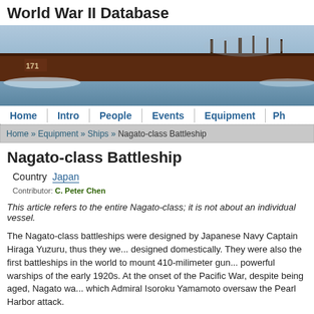World War II Database
[Figure (photo): Photograph of a warship (battleship hull with number 171 visible) sailing on water, viewed from the side, with a blue-grey hazy sky and water.]
Home  Intro  People  Events  Equipment  Ph...
Home » Equipment » Ships » Nagato-class Battleship
Nagato-class Battleship
Country  Japan
Contributor: C. Peter Chen
This article refers to the entire Nagato-class; it is not about an individual vessel.
The Nagato-class battleships were designed by Japanese Navy Captain Hiraga Yuzuru, thus they we... designed domestically. They were also the first battleships in the world to mount 410-milimeter gun... powerful warships of the early 1920s. At the onset of the Pacific War, despite being aged, Nagato wa... which Admiral Isoroku Yamamoto oversaw the Pearl Harbor attack.
Last Major Revision: Jan 2009